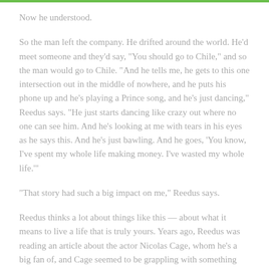Now he understood.
So the man left the company. He drifted around the world. He'd meet someone and they'd say, "You should go to Chile," and so the man would go to Chile. "And he tells me, he gets to this one intersection out in the middle of nowhere, and he puts his phone up and he's playing a Prince song, and he's just dancing," Reedus says. "He just starts dancing like crazy out where no one can see him. And he's looking at me with tears in his eyes as he says this. And he's just bawling. And he goes, 'You know, I've spent my whole life making money. I've wasted my whole life.'"
"That story had such a big impact on me," Reedus says.
Reedus thinks a lot about things like this — about what it means to live a life that is truly yours. Years ago, Reedus was reading an article about the actor Nicolas Cage, whom he's a big fan of, and Cage seemed to be grappling with something similar. "He was